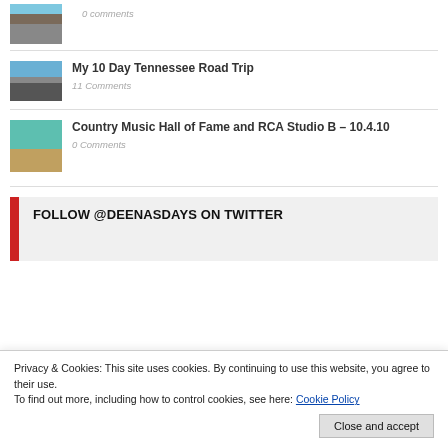[Figure (photo): Clipped top of a post thumbnail (road/car scene)]
0 Comments
[Figure (photo): Thumbnail of road trip photo – highway scene]
My 10 Day Tennessee Road Trip
11 Comments
[Figure (photo): Thumbnail of Country Music Hall of Fame interior]
Country Music Hall of Fame and RCA Studio B – 10.4.10
0 Comments
FOLLOW @DEENASDAYS ON TWITTER
Privacy & Cookies: This site uses cookies. By continuing to use this website, you agree to their use.
To find out more, including how to control cookies, see here: Cookie Policy
Close and accept